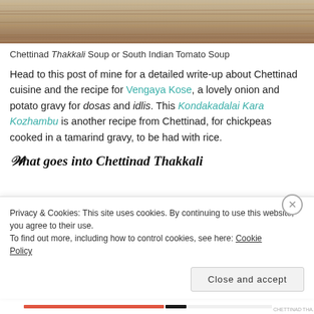[Figure (photo): Top portion of a food/wood background photo showing wooden surface texture]
Chettinad Thakkali Soup or South Indian Tomato Soup
Head to this post of mine for a detailed write-up about Chettinad cuisine and the recipe for Vengaya Kose, a lovely onion and potato gravy for dosas and idlis. This Kondakadalai Kara Kozhambu is another recipe from Chettinad, for chickpeas cooked in a tamarind gravy, to be had with rice.
What goes into Chettinad Thakkali
Privacy & Cookies: This site uses cookies. By continuing to use this website, you agree to their use.
To find out more, including how to control cookies, see here: Cookie Policy
Close and accept